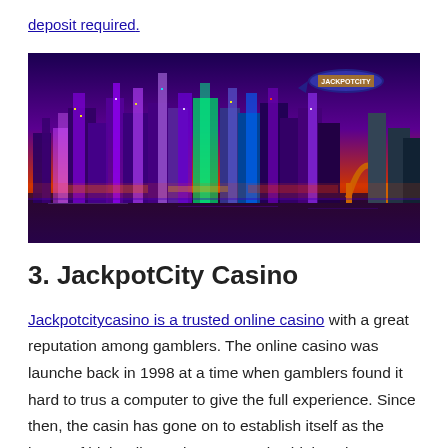deposit required.
[Figure (photo): Nighttime city skyline with colorful illuminated skyscrapers reflected in water, purple and orange sky, with a JackpotCity blimp in the upper right corner.]
3. JackpotCity Casino
Jackpotcitycasino is a trusted online casino with a great reputation among gamblers. The online casino was launched back in 1998 at a time when gamblers found it hard to trust a computer to give the full experience. Since then, the casino has gone on to establish itself as the home of high rollers. Players can play high stakes games on slots and all types o